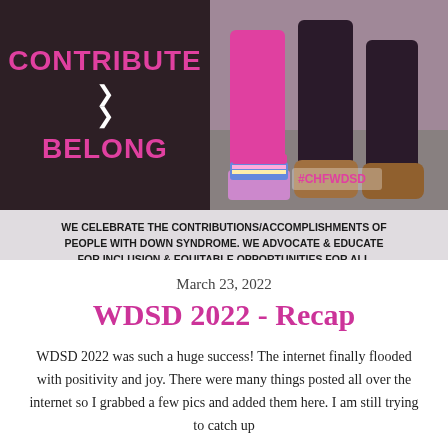[Figure (infographic): Infographic with dark left panel showing 'CONTRIBUTE > BELONG' in pink text on dark background with white chevrons, and right panel showing a photo of people's legs in pink/colorful leggings and socks. Bottom banner reads: 'WE CELEBRATE THE CONTRIBUTIONS/ACCOMPLISHMENTS OF PEOPLE WITH DOWN SYNDROME. WE ADVOCATE & EDUCATE FOR INCLUSION & EQUITABLE OPPORTUNITIES FOR ALL PEOPLE AS THEY ARE.' with ChasingHazel logo. Hashtag #CHFWDSD visible.]
March 23, 2022
WDSD 2022 - Recap
WDSD 2022 was such a huge success! The internet finally flooded with positivity and joy. There were many things posted all over the internet so I grabbed a few pics and added them here. I am still trying to catch up